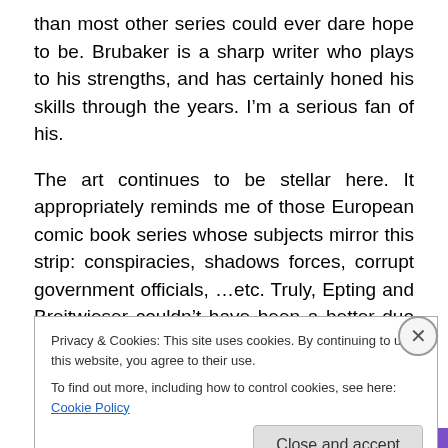than most other series could ever dare hope to be. Brubaker is a sharp writer who plays to his strengths, and has certainly honed his skills through the years. I’m a serious fan of his.
The art continues to be stellar here. It appropriately reminds me of those European comic book series whose subjects mirror this strip: conspiracies, shadows forces, corrupt government officials, …etc. Truly, Epting and Breitwieser couldn’t have been a better duo for Brubaker to collaborate with.
Privacy & Cookies: This site uses cookies. By continuing to use this website, you agree to their use.
To find out more, including how to control cookies, see here: Cookie Policy